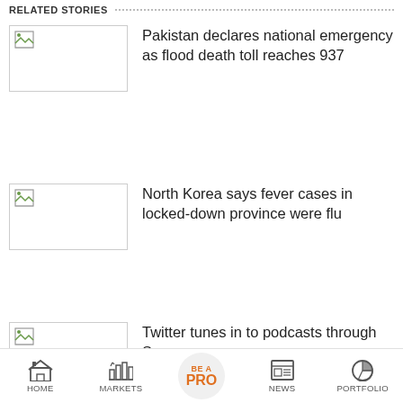RELATED STORIES
Pakistan declares national emergency as flood death toll reaches 937
North Korea says fever cases in locked-down province were flu
Twitter tunes in to podcasts through Spaces
Watch: Rishi Sunak performs 'gau puja'
DuckDuckGo's privacy-focussed Email Protection Beta
HOME  MARKETS  BE A PRO  NEWS  PORTFOLIO